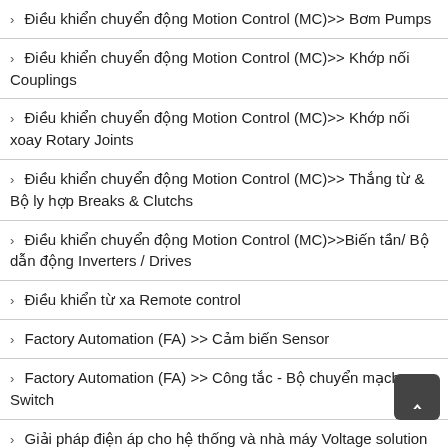› Điều khiển chuyển động Motion Control (MC)>> Bơm Pumps
› Điều khiển chuyển động Motion Control (MC)>> Khớp nối Couplings
› Điều khiển chuyển động Motion Control (MC)>> Khớp nối xoay Rotary Joints
› Điều khiển chuyển động Motion Control (MC)>> Thắng từ & Bộ ly hợp Breaks & Clutchs
› Điều khiển chuyển động Motion Control (MC)>>Biến tần/ Bộ dẫn động Inverters / Drives
› Điều khiển từ xa Remote control
› Factory Automation (FA) >> Cảm biến Sensor
› Factory Automation (FA) >> Công tắc - Bộ chuyển mạch Switch
› Giải pháp điện áp cho hệ thống và nhà máy Voltage solution for systems and plants
› Machine & System (M&S) >> Hệ thống gia nhiệt Heating systems
› Machine & System (M&S) >> Hệ thống kiểm soát chất lượng